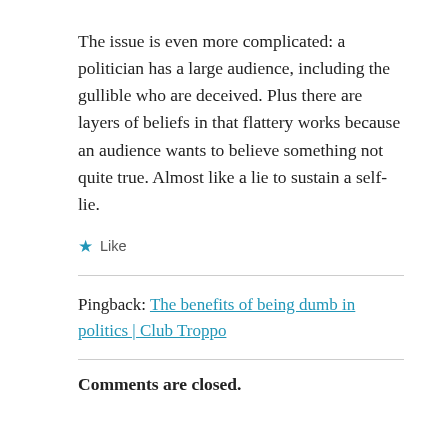The issue is even more complicated: a politician has a large audience, including the gullible who are deceived. Plus there are layers of beliefs in that flattery works because an audience wants to believe something not quite true. Almost like a lie to sustain a self-lie.
★ Like
Pingback: The benefits of being dumb in politics | Club Troppo
Comments are closed.